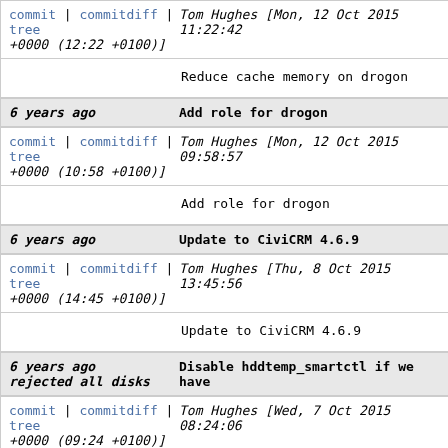commit | commitdiff | tree   Tom Hughes [Mon, 12 Oct 2015 11:22:42 +0000 (12:22 +0100)]
Reduce cache memory on drogon
6 years ago    Add role for drogon
commit | commitdiff | tree   Tom Hughes [Mon, 12 Oct 2015 09:58:57 +0000 (10:58 +0100)]
Add role for drogon
6 years ago    Update to CiviCRM 4.6.9
commit | commitdiff | tree   Tom Hughes [Thu, 8 Oct 2015 13:45:56 +0000 (14:45 +0100)]
Update to CiviCRM 4.6.9
6 years ago    Disable hddtemp_smartctl if we have rejected all disks
commit | commitdiff | tree   Tom Hughes [Wed, 7 Oct 2015 08:24:06 +0000 (09:24 +0100)]
Disable hddtemp_smartctl if we have rejected all d